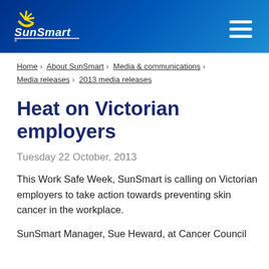SunSmart
Home › About SunSmart › Media & communications › Media releases › 2013 media releases
Heat on Victorian employers
Tuesday 22 October, 2013
This Work Safe Week, SunSmart is calling on Victorian employers to take action towards preventing skin cancer in the workplace.
SunSmart Manager, Sue Heward, at Cancer Council